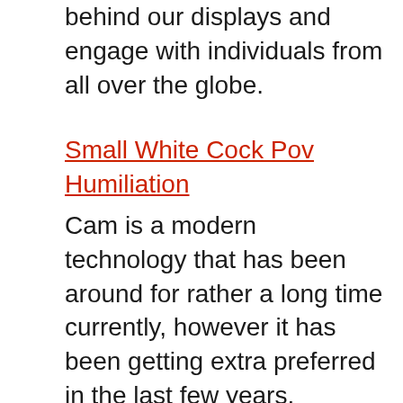behind our displays and engage with individuals from all over the globe.
Small White Cock Pov Humiliation
Cam is a modern technology that has been around for rather a long time currently, however it has been getting extra preferred in the last few years. Individuals use web cams for numerous factors – to conversation, have a video call, or perhaps see videos together. Webcam allows you to feel more linked than ever, and also it's likewise a great means of having intimacy with no physical get in touch with, which is particularly important for people living far from their enjoyed ones.